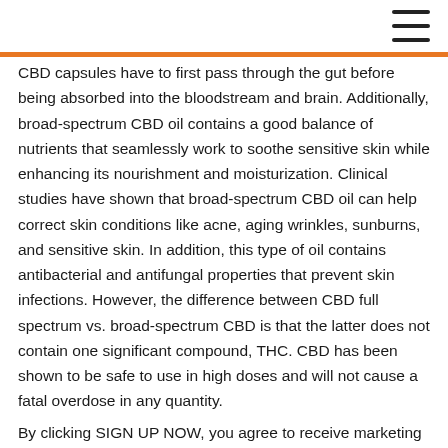CBD capsules have to first pass through the gut before being absorbed into the bloodstream and brain. Additionally, broad-spectrum CBD oil contains a good balance of nutrients that seamlessly work to soothe sensitive skin while enhancing its nourishment and moisturization. Clinical studies have shown that broad-spectrum CBD oil can help correct skin conditions like acne, aging wrinkles, sunburns, and sensitive skin. In addition, this type of oil contains antibacterial and antifungal properties that prevent skin infections. However, the difference between CBD full spectrum vs. broad-spectrum CBD is that the latter does not contain one significant compound, THC. CBD has been shown to be safe to use in high doses and will not cause a fatal overdose in any quantity.
By clicking SIGN UP NOW, you agree to receive marketing text